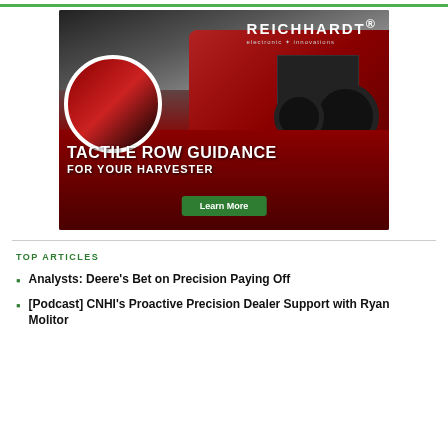[Figure (illustration): Reichhardt electronic innovations advertisement showing a red combine harvester with tactile row guidance system. Text reads: REICHHARDT electronic innovations, TACTILE ROW GUIDANCE FOR YOUR HARVESTER, Learn More button.]
TOP ARTICLES
Analysts: Deere's Bet on Precision Paying Off
[Podcast] CNHI's Proactive Precision Dealer Support with Ryan Molitor